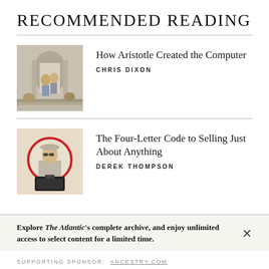RECOMMENDED READING
[Figure (illustration): Classical painting style image showing figures in an ancient Greek/Roman architectural setting, with arched columns and people in robes]
How Aristotle Created the Computer
CHRIS DIXON
[Figure (illustration): Illustration of a man in a coat and sunglasses standing with luggage, with a red circular graphic element behind him]
The Four-Letter Code to Selling Just About Anything
DEREK THOMPSON
Explore The Atlantic's complete archive, and enjoy unlimited access to select content for a limited time.
SUPPORTING SPONSOR: ANCESTRY.COM